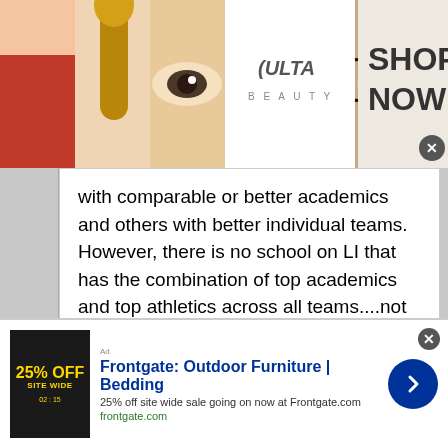[Figure (photo): Top banner advertisement for Ulta Beauty showing makeup/cosmetics photos, Ulta logo, and 'SHOP NOW' call to action]
with comparable or better academics and others with better individual teams. However, there is no school on LI that has the combination of top academics and top athletics across all teams....not just lax. Look at their athletic center, Bloomberg terminals, wrestling facility, TV studio, the yearbook they produce, volunteerism and on and on. If you hate Chaminade I get it, but then name me the LI school which surpasses them in ALL these areas.
Syosset to name one . Their academics are top in the country and you can't count the number of boys AND
[Figure (photo): Bottom banner advertisement for Frontgate Outdoor Furniture and Bedding showing 25% off site wide sale]